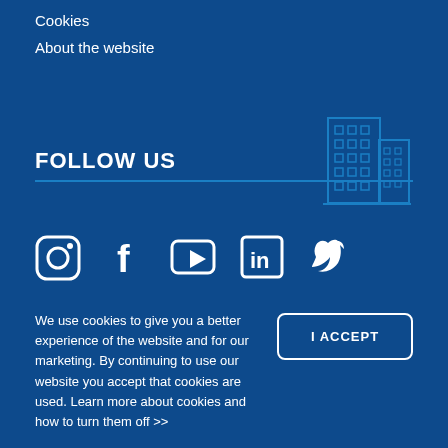Cookies
About the website
[Figure (illustration): Building/skyscraper line art icon in light blue on dark blue background]
FOLLOW US
[Figure (infographic): Social media icons: Instagram, Facebook, YouTube, LinkedIn, Twitter (white icons on dark blue background)]
[Figure (illustration): Chevron/caret up arrow icon]
We use cookies to give you a better experience of the website and for our marketing. By continuing to use our website you accept that cookies are used. Learn more about cookies and how to turn them off >>
I ACCEPT